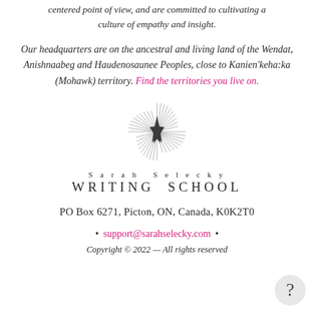centered point of view, and are committed to cultivating a culture of empathy and insight.
Our headquarters are on the ancestral and living land of the Wendat, Anishnaabeg and Haudenosaunee Peoples, close to Kanien'keha:ka (Mohawk) territory. Find the territories you live on.
[Figure (logo): Star burst logo with a dark star in the center surrounded by radiating lines]
Sarah Selecky WRITING SCHOOL
PO Box 6271, Picton, ON, Canada, K0K2T0
• support@sarahselecky.com •
Copyright © 2022 — All rights reserved